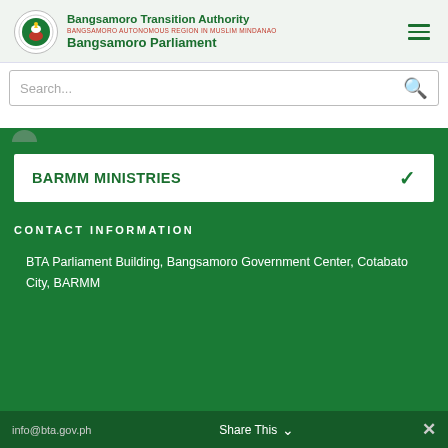Bangsamoro Transition Authority BANGSAMORO AUTONOMOUS REGION IN MUSLIM MINDANAO Bangsamoro Parliament
Search...
BARMM MINISTRIES
CONTACT INFORMATION
BTA Parliament Building, Bangsamoro Government Center, Cotabato City, BARMM
info@bta.gov.ph  Share This  ✕